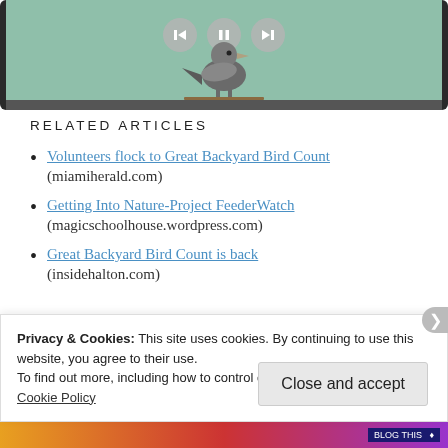[Figure (screenshot): Video player showing a bird on a branch with playback controls (back, pause, forward) and a dark frame, green/teal background]
RELATED ARTICLES
Volunteers flock to Great Backyard Bird Count (miamiherald.com)
Getting Into Nature-Project FeederWatch (magicschoolhouse.wordpress.com)
Great Backyard Bird Count is back (insidehalton.com)
Privacy & Cookies: This site uses cookies. By continuing to use this website, you agree to their use.
To find out more, including how to control cookies, see here:
Cookie Policy
Close and accept